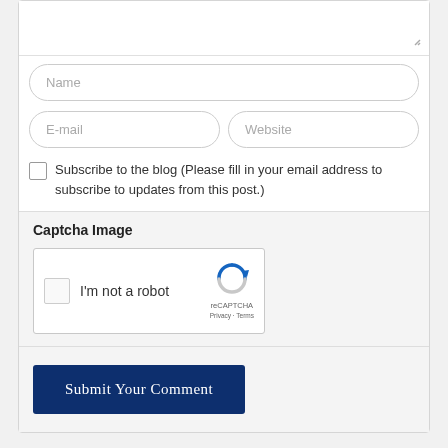[Figure (screenshot): Comment form with textarea (partially visible at top), Name input field, E-mail and Website input fields side by side, Subscribe checkbox with label text, Captcha Image section with reCAPTCHA widget, and Submit Your Comment button.]
Name
E-mail
Website
Subscribe to the blog (Please fill in your email address to subscribe to updates from this post.)
Captcha Image
I'm not a robot
reCAPTCHA
Privacy · Terms
Submit Your Comment